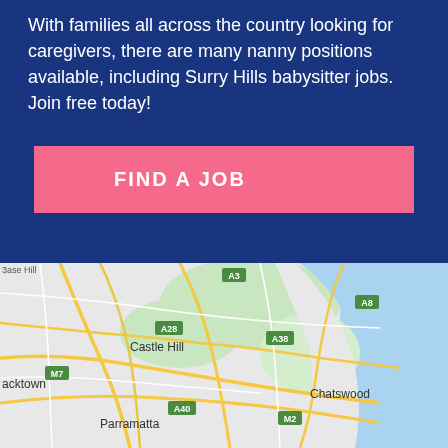With families all across the country looking for caregivers, there are many nanny positions available, including Surry Hills babysitter jobs. Join free today!
[Figure (other): Pink button with white uppercase text reading 'FIND A JOB']
[Figure (map): Google map showing Sydney metropolitan area including Castle Hill, Parramatta, Blacktown, Chatswood and surrounding suburbs with road network and highway labels (A3, A8, A28, A38, A40, M2, M7)]